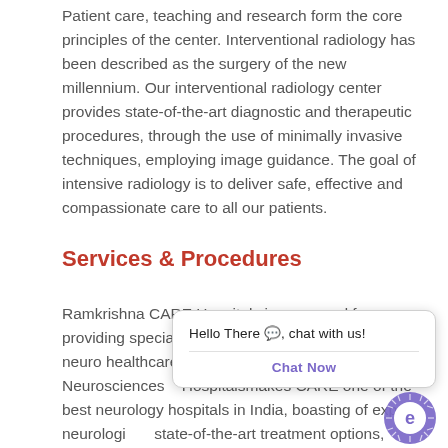Patient care, teaching and research form the core principles of the center. Interventional radiology has been described as the surgery of the new millennium. Our interventional radiology center provides state-of-the-art diagnostic and therapeutic procedures, through the use of minimally invasive techniques, employing image guidance. The goal of intensive radiology is to deliver safe, effective and compassionate care to all our patients.
Services & Procedures
Ramkrishna CARE Hospitals is renowned for providing specialized treatment options and the best neuro healthcare to p... Institute of Neurosciences... Hospitalsmakes CARE one of the best neurology hospitals in India, boasting of expert neurologi... state-of-the-art treatment options, cutting edge technology and specialised patient-focused care, with one of the most elaborate surgery...
[Figure (other): Chat popup overlay with text 'Hello There, chat with us!' and a 'Chat Now' button, and a circular chat icon in the bottom right corner.]